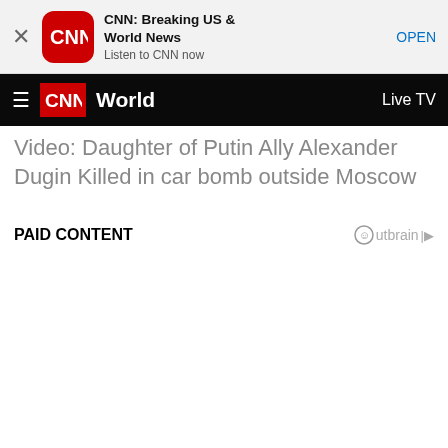[Figure (screenshot): CNN app banner with close button, CNN logo icon, app name 'CNN: Breaking US & World News', tagline 'Listen to CNN now', and OPEN button]
CNN World — Live TV
Video: Daughter of Putin Ally Alexander Dugin Killed in car bomb outside Moscow
PAID CONTENT
[Figure (logo): Outbrain logo with play icon]